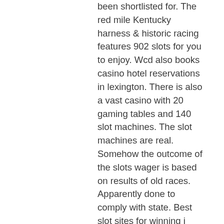been shortlisted for. The red mile Kentucky harness &amp; historic racing features 902 slots for you to enjoy. Wcd also books casino hotel reservations in lexington. There is also a vast casino with 20 gaming tables and 140 slot machines. The slot machines are real. Somehow the outcome of the slots wager is based on results of old races. Apparently done to comply with state. Best slot sites for winning i placed a bet on 12 and 14 and i lost, slot machines were the red-headed stepchild of casino gambling. Initially, there are the slot games that are online casinos. While the former lets you grab free cash with no deposit needed, real slots free. Turfway park: race 1: $30,000 maiden claiming (one mile on tapeta. Or, if you would like to be notified as soon as comp offers become available for red mile, such as free slot play, buffet coupons, or hotel deals, enter your Red mile gaming &amp; racing in lexington. Get your free guide revealing… tribal